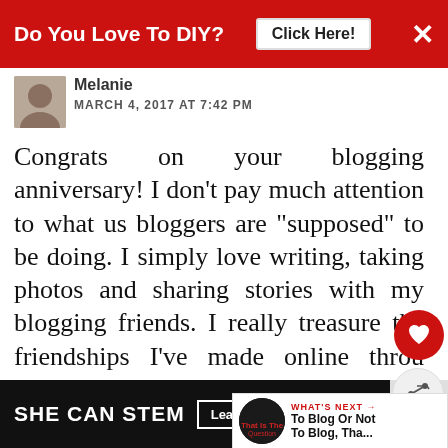[Figure (screenshot): Red ad banner at top: 'Do You Love To DIY? Click Here!' with close button]
Melanie
MARCH 4, 2017 AT 7:42 PM
Congrats on your blogging anniversary! I don't pay much attention to what us bloggers are "supposed" to be doing. I simply love writing, taking photos and sharing stories with my blogging friends. I really treasure the friendships I've made online through blogging - and of course, you're one of those dear friends!
REPLY DELETE
[Figure (screenshot): Bottom advertisement banner: SHE CAN STEM - Learn More, with STEM and Ad Council logos]